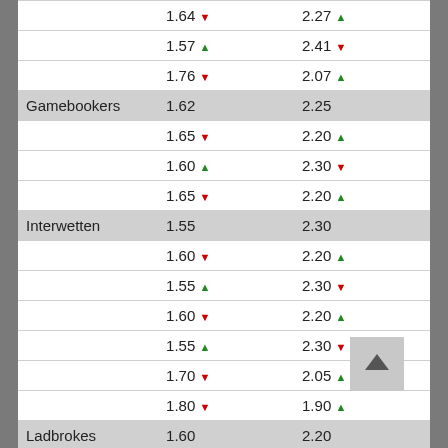|  | Col2 | Col3 |
| --- | --- | --- |
|  | 1.64 ▼ | 2.27 ▲ |
|  | 1.57 ▲ | 2.41 ▼ |
|  | 1.76 ▼ | 2.07 ▲ |
| Gamebookers | 1.62 | 2.25 |
|  | 1.65 ▼ | 2.20 ▲ |
|  | 1.60 ▲ | 2.30 ▼ |
|  | 1.65 ▼ | 2.20 ▲ |
| Interwetten | 1.55 | 2.30 |
|  | 1.60 ▼ | 2.20 ▲ |
|  | 1.55 ▲ | 2.30 ▼ |
|  | 1.60 ▼ | 2.20 ▲ |
|  | 1.55 ▲ | 2.30 ▼ |
|  | 1.70 ▼ | 2.05 ▲ |
|  | 1.80 ▼ | 1.90 ▲ |
| Ladbrokes | 1.60 | 2.20 |
|  | 1.61 ▼ | 2.15 ▲ |
|  | 1.57 ▲ | 2.25 ▼ |
|  | 1.61 ▼ | 2.15 ▲ |